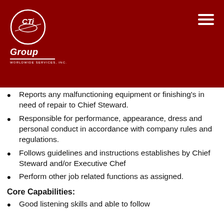[Figure (logo): CTi Group Worldwide Services Inc. logo — white circular emblem with stylized 'CTi' text, 'Group' in italic white below, horizontal white line, 'Worldwide Services, Inc.' in small caps, on dark red background]
Reports any malfunctioning equipment or finishings in need of repair to Chief Steward.
Responsible for performance, appearance, dress and personal conduct in accordance with company rules and regulations.
Follows guidelines and instructions establishes by Chief Steward and/or Executive Chef
Perform other job related functions as assigned.
Core Capabilities:
Good listening skills and able to follow